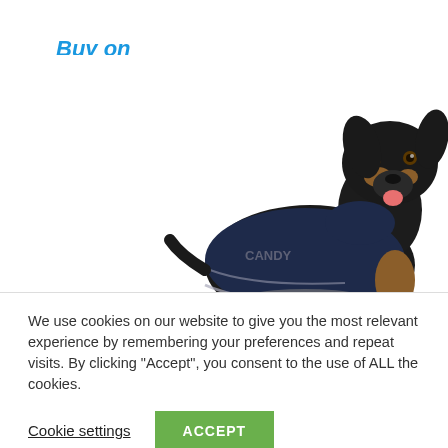Buy on Amazon.co.uk
[Figure (photo): A black and tan Doberman dog wearing a navy blue dog jacket/coat with reflective trim, photographed on a white background]
We use cookies on our website to give you the most relevant experience by remembering your preferences and repeat visits. By clicking "Accept", you consent to the use of ALL the cookies.
Cookie settings
ACCEPT